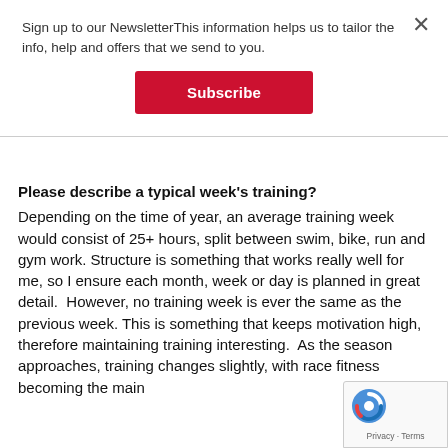Sign up to our NewsletterThis information helps us to tailor the info, help and offers that we send to you.
[Figure (other): Subscribe button — red rectangle with white bold text 'Subscribe']
Please describe a typical week's training?
Depending on the time of year, an average training week would consist of 25+ hours, split between swim, bike, run and gym work. Structure is something that works really well for me, so I ensure each month, week or day is planned in great detail.  However, no training week is ever the same as the previous week. This is something that keeps motivation high, therefore maintaining training interesting.  As the season approaches, training changes slightly, with race fitness becoming the main
[Figure (other): Google reCAPTCHA badge with logo and Privacy · Terms text]